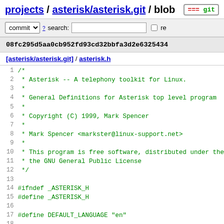projects / asterisk/asterisk.git / blob  +++ git
commit  search:  re
08fc295d5aa0cb952fd93cd32bbfa3d2e6325434
[asterisk/asterisk.git] / asterisk.h
[Figure (screenshot): Code listing of asterisk.h file showing lines 1-21 with C header file content including copyright comment and preprocessor defines]